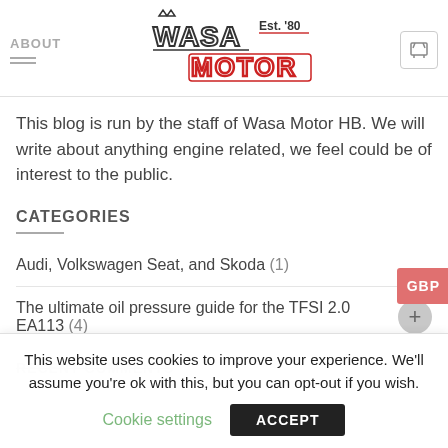ABOUT | Wasa Motor (Est. '80) logo | Cart
This blog is run by the staff of Wasa Motor HB. We will write about anything engine related, we feel could be of interest to the public.
CATEGORIES
Audi, Volkswagen Seat, and Skoda (1)
The ultimate oil pressure guide for the TFSI 2.0 EA113 (4)
RECENT COMMENTS
This website uses cookies to improve your experience. We'll assume you're ok with this, but you can opt-out if you wish.
Cookie settings  ACCEPT